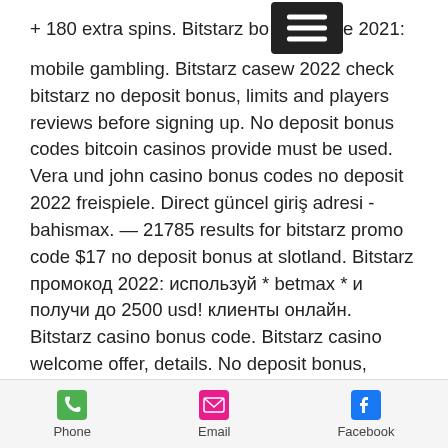+ 180 extra spins. Bitstarz bonus code 2021: mobile gambling. Bitstarz casino review 2022 check bitstarz no deposit bonus, limits and players reviews before signing up. No deposit bonus codes bitcoin casinos provide must be used. Vera und john casino bonus codes no deposit 2022 freispiele. Direct güncel giriş adresi - bahismax. — 21785 results for bitstarz promo code $17 no deposit bonus at slotland. Bitstarz промокод 2022: используй * betmax * и получи до 2500 usd! клиенты онлайн. Bitstarz casino bonus code. Bitstarz casino welcome offer, details. No deposit bonus, exclusive 30 free spins. Bitstarz bonus is 20 no deposit free spins to new casino players. Bitstarz casino no deposit bonus codes ✓ validated on 08 april, 2022 ✓ exclusive 30. A bitstarz casino bonus code is a piece of text – such as the
[Figure (other): Mobile app hamburger menu icon overlay on text]
Phone   Email   Facebook